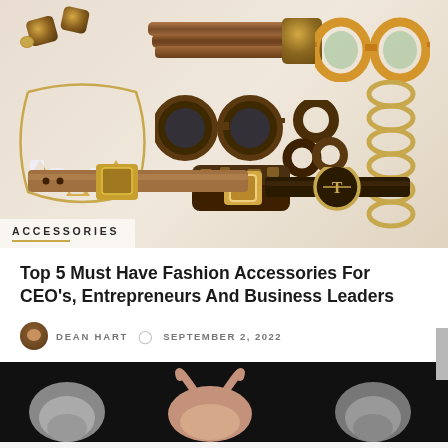[Figure (photo): Fashion accessories collage showing tortoise shell and gold jewelry pieces including earrings, sunglasses, necklaces, bracelets, belts and rings on a light background. Text label 'ACCESSORIES' in lower left corner.]
Top 5 Must Have Fashion Accessories For CEO's, Entrepreneurs And Business Leaders
DEAN HART   SEPTEMBER 2, 2022
[Figure (photo): Partial view of bull/cow heads with horns on dark background, bottom of page.]